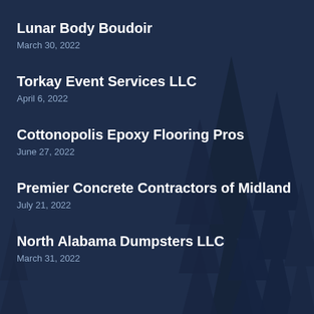Lunar Body Boudoir
March 30, 2022
Torkay Event Services LLC
April 6, 2022
Cottonopolis Epoxy Flooring Pros
June 27, 2022
Premier Concrete Contractors of Midland
July 21, 2022
North Alabama Dumpsters LLC
March 31, 2022